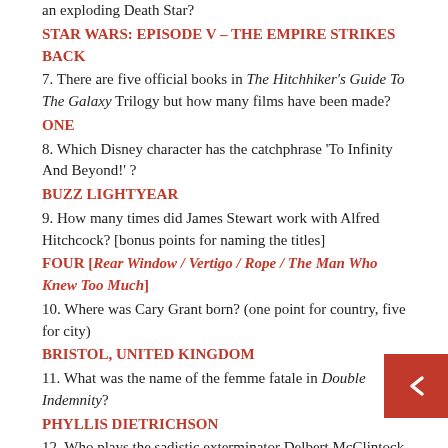an exploding Death Star?
STAR WARS: EPISODE V – THE EMPIRE STRIKES BACK
7. There are five official books in The Hitchhiker's Guide To The Galaxy Trilogy but how many films have been made?
ONE
8. Which Disney character has the catchphrase 'To Infinity And Beyond!' ?
BUZZ LIGHTYEAR
9. How many times did James Stewart work with Alfred Hitchcock? [bonus points for naming the titles]
FOUR [Rear Window / Vertigo / Rope / The Man Who Knew Too Much]
10. Where was Cary Grant born? (one point for country, five for city)
BRISTOL, UNITED KINGDOM
11. What was the name of the femme fatale in Double Indemnity?
PHYLLIS DIETRICHSON
12. Who plays the sadistic exterminator Delbert McClintock in Arachnophobia?
JOHN GOODMAN